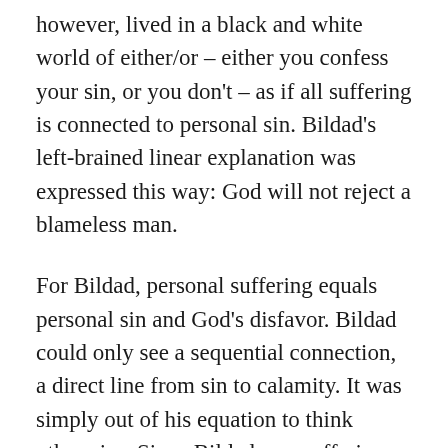however, lived in a black and white world of either/or – either you confess your sin, or you don't – as if all suffering is connected to personal sin. Bildad's left-brained linear explanation was expressed this way: God will not reject a blameless man.
For Bildad, personal suffering equals personal sin and God's disfavor. Bildad could only see a sequential connection, a direct line from sin to calamity. It was simply out of his equation to think otherwise. Since Bildad saw suffering as the direct result of sin, his remedy was to exhort toward confession of sin.